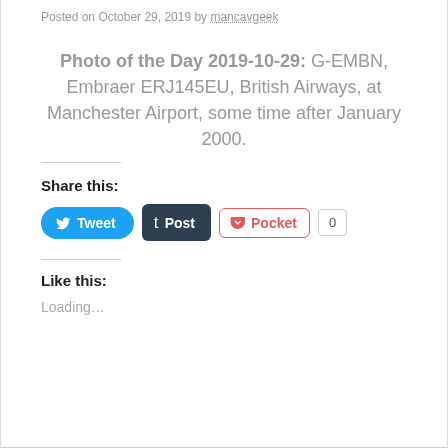Posted on October 29, 2019 by mancavgeek
Photo of the Day 2019-10-29: G-EMBN, Embraer ERJ145EU, British Airways, at Manchester Airport, some time after January 2000.
Share this:
Like this:
Loading...